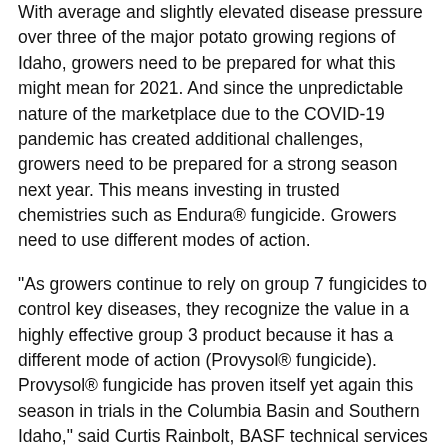With average and slightly elevated disease pressure over three of the major potato growing regions of Idaho, growers need to be prepared for what this might mean for 2021. And since the unpredictable nature of the marketplace due to the COVID-19 pandemic has created additional challenges, growers need to be prepared for a strong season next year. This means investing in trusted chemistries such as Endura® fungicide. Growers need to use different modes of action.
"As growers continue to rely on group 7 fungicides to control key diseases, they recognize the value in a highly effective group 3 product because it has a different mode of action (Provysol® fungicide). Provysol® fungicide has proven itself yet again this season in trials in the Columbia Basin and Southern Idaho," said Curtis Rainbolt, BASF technical services representative, Idaho.
About Endura® fungicide
Endura® fungicide with its active ingredient boscalid is the industry standard for premier white mold control in potatoes as well as early blight. It works preventatively and excels where